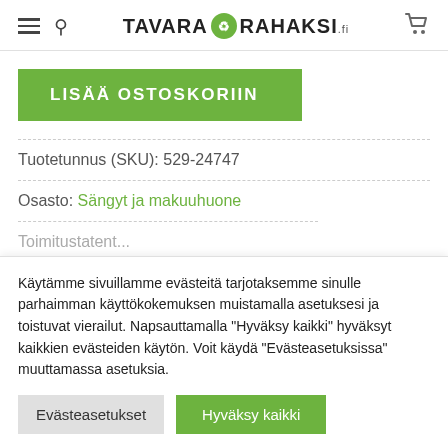TAVARA RAHAKSI.fi
LISÄÄ OSTOSKORIIN
Tuotetunnus (SKU): 529-24747
Osasto: Sängyt ja makuuhuone
Toimitustatement (truncated)
Käytämme sivuillamme evästeitä tarjotaksemme sinulle parhaimman käyttökokemuksen muistamalla asetuksesi ja toistuvat vierailut. Napsauttamalla "Hyväksy kaikki" hyväksyt kaikkien evästeiden käytön. Voit käydä "Evästeasetuksissa" muuttamassa asetuksia.
Evästeasetukset
Hyväksy kaikki